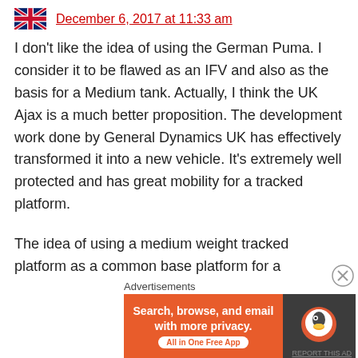December 6, 2017 at 11:33 am
I don't like the idea of using the German Puma. I consider it to be flawed as an IFV and also as the basis for a Medium tank. Actually, I think the UK Ajax is a much better proposition. The development work done by General Dynamics UK has effectively transformed it into a new vehicle. It's extremely well protected and has great mobility for a tracked platform.
The idea of using a medium weight tracked platform as a common base platform for a
Advertisements
[Figure (screenshot): DuckDuckGo advertisement banner: orange left panel reading 'Search, browse, and email with more privacy. All in One Free App' and dark right panel with DuckDuckGo duck logo.]